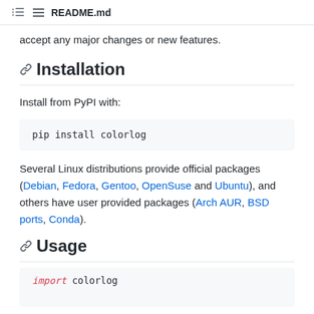README.md
accept any major changes or new features.
Installation
Install from PyPI with:
pip install colorlog
Several Linux distributions provide official packages (Debian, Fedora, Gentoo, OpenSuse and Ubuntu), and others have user provided packages (Arch AUR, BSD ports, Conda).
Usage
import colorlog